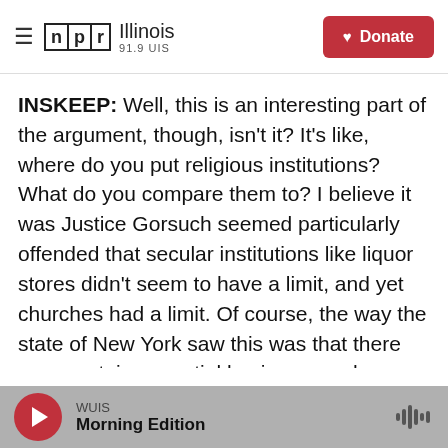[Figure (logo): NPR Illinois 91.9 UIS logo with hamburger menu and Donate button]
INSKEEP: Well, this is an interesting part of the argument, though, isn't it? It's like, where do you put religious institutions? What do you compare them to? I believe it was Justice Gorsuch seemed particularly offended that secular institutions like liquor stores didn't seem to have a limit, and yet churches had a limit. Of course, the way the state of New York saw this was that there were certain essential businesses where customers might come and go. Any number of customers might come and go, but they were banning gatherings. You couldn't have a concert anymore, but you could have a
WUIS  Morning Edition